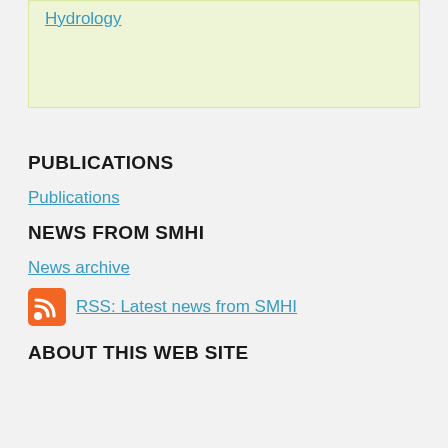Hydrology
PUBLICATIONS
Publications
NEWS FROM SMHI
News archive
RSS: Latest news from SMHI
ABOUT THIS WEB SITE